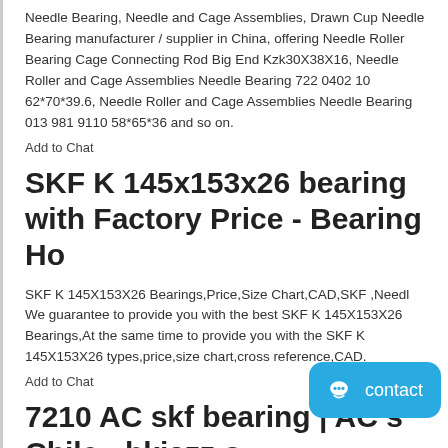Needle Bearing, Needle and Cage Assemblies, Drawn Cup Needle Bearing manufacturer / supplier in China, offering Needle Roller Bearing Cage Connecting Rod Big End Kzk30X38X16, Needle Roller and Cage Assemblies Needle Bearing 722 0402 10 62*70*39.6, Needle Roller and Cage Assemblies Needle Bearing 013 981 9110 58*65*36 and so on.
Add to Chat
SKF K 145x153x26 bearing with Factory Price - Bearing Ho
SKF K 145X153X26 Bearings,Price,Size Chart,CAD,SKF ,Needl We guarantee to provide you with the best SKF K 145X153X26 Bearings,At the same time to provide you with the SKF K 145X153X26 types,price,size chart,cross reference,CAD.
Add to Chat
7210 AC skf bearing | AC s Chile - hkjazz.o